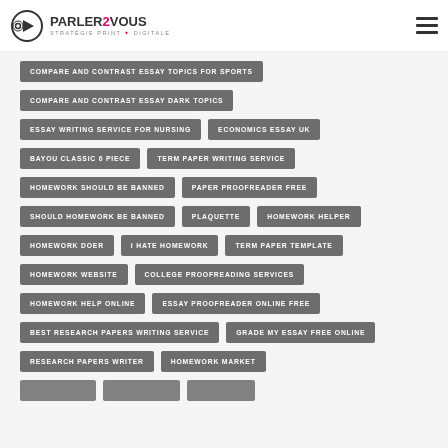PARLER2VOUS STRATÉGIE PRINT & DIGITALE
COMPARE AND CONTRAST ESSAY TOPICS FOR SPORTS
COMPARE AND CONTRAST ESSAY DARK TOPICS
ESSAY WRITING SERVICE FOR NURSING
ECONOMICS ESSAY UK
BAYOU CLASSIC 6 PIECE
TERM PAPER WRITING SERVICE
HOMEWORK SHOULD BE BANNED
PAPER PROOFREADER FREE
SHOULD HOMEWORK BE BANNED
PLAQUETTE
HOMEWORK HELPER
HOMEWORK DOER
I HATE HOMEWORK
TERM PAPER TEMPLATE
HOMEWORK WEBSITE
COLLEGE PROOFREADING SERVICES
HOMEWORK HELP ONLINE
ESSAY PROOFREADER ONLINE FREE
BEST RESEARCH PAPERS WRITING SERVICE
GRADE MY ESSAY FREE ONLINE
RESEARCH PAPERS WRITER
HOMEWORK MARKET